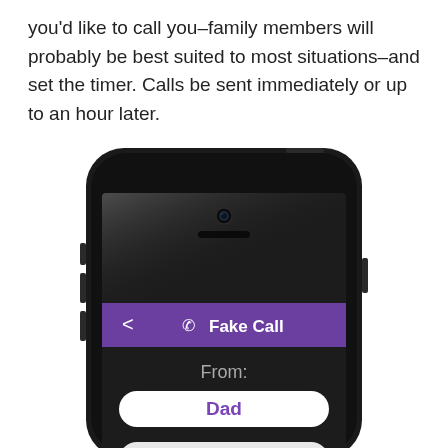you'd like to call you–family members will probably be best suited to most situations–and set the timer. Calls be sent immediately or up to an hour later.
[Figure (screenshot): Screenshot of an iPhone showing a 'Fake Call' app interface with a purple navigation bar showing a phone icon and 'Fake Call' title, a 'From:' label, a white rounded field showing 'Dad' in purple text, and a 'Now' button partially visible at the bottom. The phone is shown from the top half view with the camera and speaker visible.]